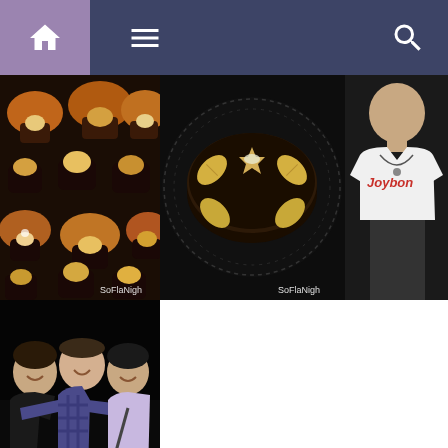[Figure (screenshot): Website navigation bar with purple home icon box on left, hamburger menu, and search icon on right, dark navy background]
[Figure (photo): Grid of four food/event photos: top row shows assorted pastries/cupcakes with SoFlaNight watermark, dark chocolate cake with fondant decorations and SoFlaNight watermark, person wearing Joybon t-shirt; bottom row shows three people posing together at an event with SoFlaNight watermark]
[SHOW AS SLIDESHOW]
Daily Events Digest Email